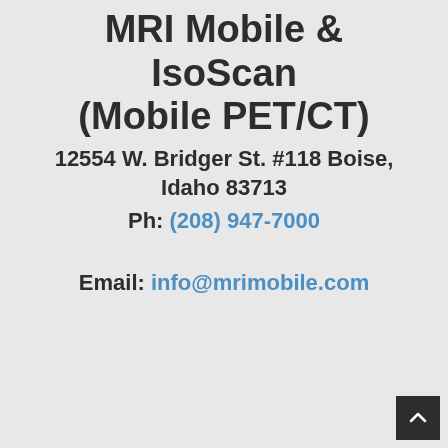MRI Mobile & IsoScan (Mobile PET/CT)
12554 W. Bridger St. #118 Boise, Idaho 83713
Ph: (208) 947-7000
Email: info@mrimobile.com